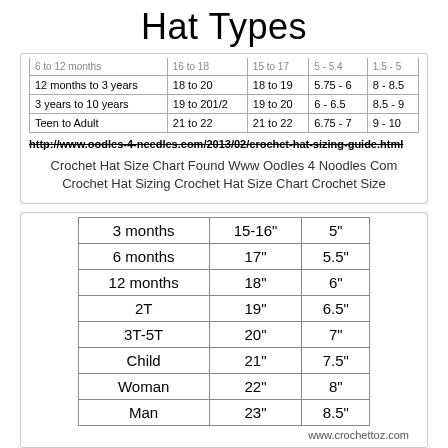Hat Types
| 6 to 12 months | 16 to 18 | 15 to 17 | 5 - 5.4 | 1.5 - 5 |
| 12 months to 3 years | 18 to 20 | 18 to 19 | 5.75 - 6 | 8 - 8.5 |
| 3 years to 10 years | 19 to 201/2 | 19 to 20 | 6 - 6.5 | 8.5 - 9 |
| Teen to Adult | 21 to 22 | 21 to 22 | 6.75 - 7 | 9 - 10 |
http://www.oodles-4-needles.com/2013/02/crochet-hat-sizing-guide.html
Crochet Hat Size Chart Found Www Oodles 4 Noodles Com Crochet Hat Sizing Crochet Hat Size Chart Crochet Size
| 3 months | 15-16" | 5" |
| 6 months | 17" | 5.5" |
| 12 months | 18" | 6" |
| 2T | 19" | 6.5" |
| 3T-5T | 20" | 7" |
| Child | 21" | 7.5" |
| Woman | 22" | 8" |
| Man | 23" | 8.5" |
www.crochettoz.com